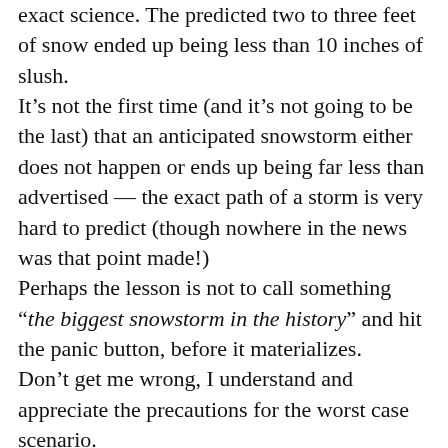exact science. The predicted two to three feet of snow ended up being less than 10 inches of slush.
It’s not the first time (and it’s not going to be the last) that an anticipated snowstorm either does not happen or ends up being far less than advertised — the exact path of a storm is very hard to predict (though nowhere in the news was that point made!)
Perhaps the lesson is not to call something “the biggest snowstorm in the history” and hit the panic button, before it materializes.
Don’t get me wrong, I understand and appreciate the precautions for the worst case scenario.
The response of city officials was determined by the information they were being given by the National Weather Service. Which was that this was going to be a huge storm.
However, next time I suggest using caveats such as “it’s likely to”, “it seems like” or “there’s a chance that” when